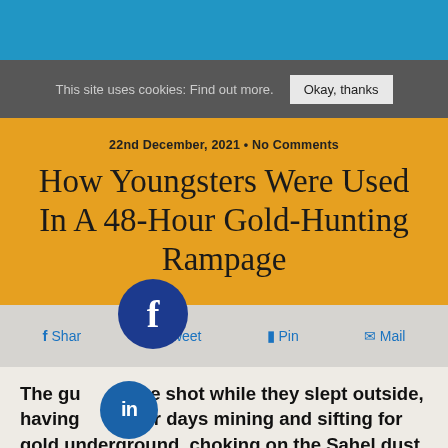This site uses cookies: Find out more.  Okay, thanks
22nd December, 2021 • No Comments
How Youngsters Were Used In A 48-Hour Gold-Hunting Rampage
Share  Tweet  Pin  Mail
The guys were shot while they slept outside, having spent their days mining and sifting for gold underground, choking on the Sahel dust.